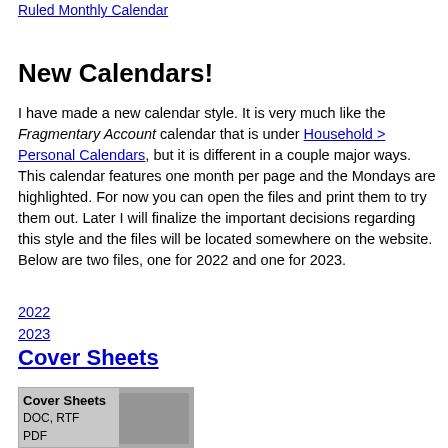Ruled Monthly Calendar
New Calendars!
I have made a new calendar style. It is very much like the Fragmentary Account calendar that is under Household > Personal Calendars, but it is different in a couple major ways. This calendar features one month per page and the Mondays are highlighted. For now you can open the files and print them to try them out. Later I will finalize the important decisions regarding this style and the files will be located somewhere on the website. Below are two files, one for 2022 and one for 2023.
2022
2023
Cover Sheets
[Figure (screenshot): Cover Sheets image showing DOC, RTF, PDF text with decorative background]